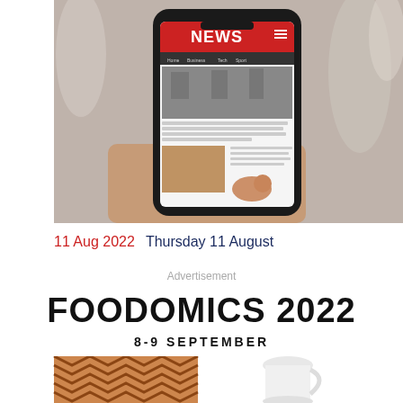[Figure (photo): A hand holding a smartphone displaying a news app with red NEWS header and article images, blurred crowd in background]
11 Aug 2022   Thursday 11 August
Advertisement
FOODOMICS 2022
8-9 SEPTEMBER
[Figure (photo): Partial view of food items including a woven basket/bread and a white jug/pitcher at the bottom of the page]